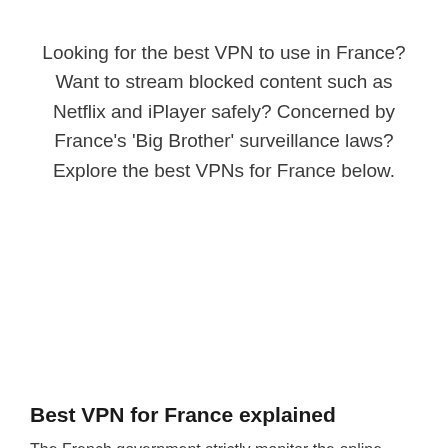Looking for the best VPN to use in France? Want to stream blocked content such as Netflix and iPlayer safely? Concerned by France's 'Big Brother' surveillance laws? Explore the best VPNs for France below.
Best VPN for France explained
The French government strictly monitor the online activity of all its citizens and visitors. Following the